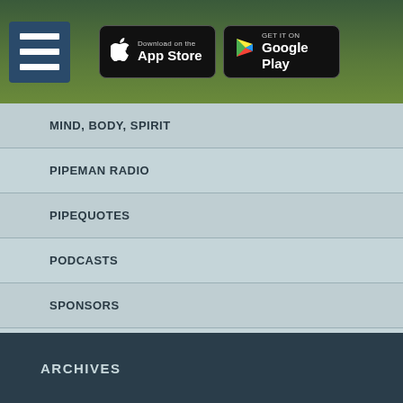Menu | Download on the App Store | GET IT ON Google Play
MIND, BODY, SPIRIT
PIPEMAN RADIO
PIPEQUOTES
PODCASTS
SPONSORS
UNCATEGORIZED
W4HC LIVE RADIO SHOWS
W4HC RADIO PERSONALITIES
ARCHIVES